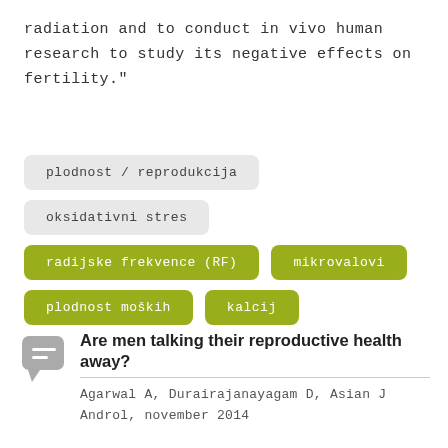radiation and to conduct in vivo human research to study its negative effects on fertility."
plodnost/reprodukcija
oksidativni stres
radijske frekvence (RF)
mikrovalovi
plodnost moških
kalcij
Are men talking their reproductive health away?
Agarwal A, Durairajanayagam D, Asian J Androl, november 2014